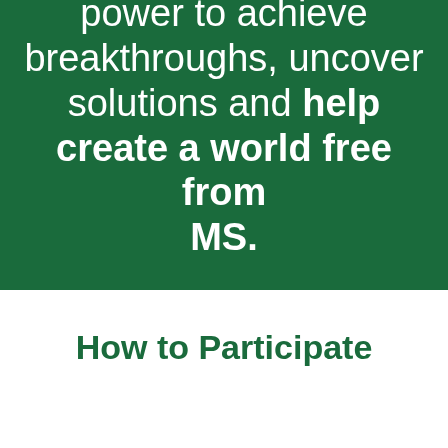power to achieve breakthroughs, uncover solutions and help create a world free from MS.
How to Participate